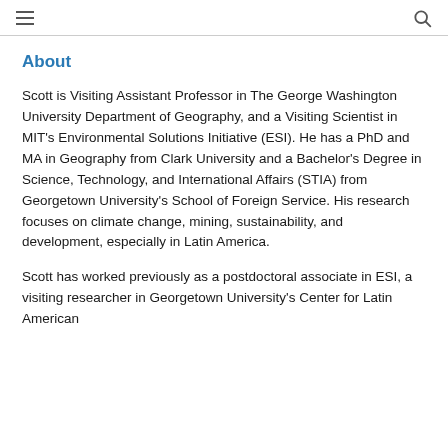≡  🔍
About
Scott is Visiting Assistant Professor in The George Washington University Department of Geography, and a Visiting Scientist in MIT's Environmental Solutions Initiative (ESI). He has a PhD and MA in Geography from Clark University and a Bachelor's Degree in Science, Technology, and International Affairs (STIA) from Georgetown University's School of Foreign Service. His research focuses on climate change, mining, sustainability, and development, especially in Latin America.
Scott has worked previously as a postdoctoral associate in ESI, a visiting researcher in Georgetown University's Center for Latin American